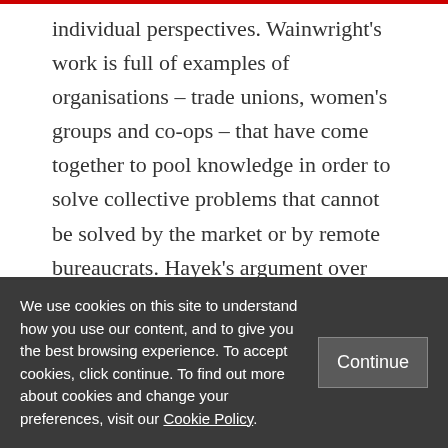individual perspectives. Wainwright's work is full of examples of organisations – trade unions, women's groups and co-ops – that have come together to pool knowledge in order to solve collective problems that cannot be solved by the market or by remote bureaucrats. Hayek's argument over the dispersed nature of knowledge can be used to support a form of radical social movement politics, not simply a scepticism about
We use cookies on this site to understand how you use our content, and to give you the best browsing experience. To accept cookies, click continue. To find out more about cookies and change your preferences, visit our Cookie Policy.